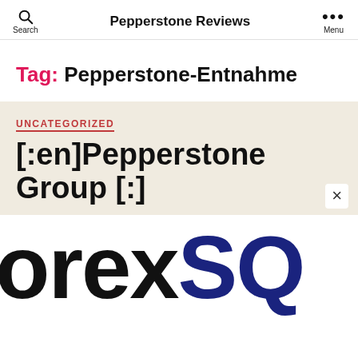Pepperstone Reviews
Tag: Pepperstone-Entnahme
UNCATEGORIZED
[:en]Pepperstone Group [:]
[Figure (logo): Partial logo text showing 'orexSQ' in black and navy blue large bold letters, cropped]